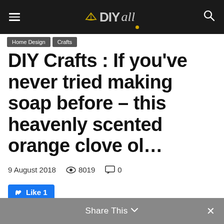DIYall — site header with hamburger menu and search icon
DIY Crafts : If you've never tried making soap before – this heavenly scented orange clove ol…
9 August 2018   👁 8019   💬 0
Like 1
Share This ∨  ×